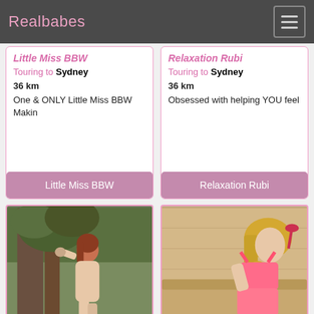Realbabes
Little Miss BBW — Touring to Sydney — 36 km — One & ONLY Little Miss BBW Makin
Relaxation Rubi — Touring to Sydney — 36 km — Obsessed with helping YOU feel
Little Miss BBW
Relaxation Rubi
[Figure (photo): Person with auburn hair leaning against a tree outdoors]
[Figure (photo): Person in pink lingerie on a sofa]